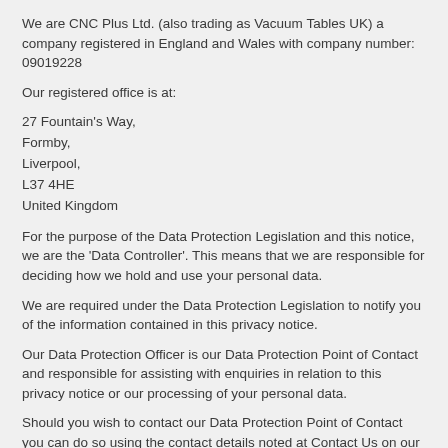We are CNC Plus Ltd. (also trading as Vacuum Tables UK) a company registered in England and Wales with company number: 09019228
Our registered office is at:
27 Fountain's Way,
Formby,
Liverpool,
L37 4HE
United Kingdom
For the purpose of the Data Protection Legislation and this notice, we are the 'Data Controller'. This means that we are responsible for deciding how we hold and use your personal data.
We are required under the Data Protection Legislation to notify you of the information contained in this privacy notice.
Our Data Protection Officer is our Data Protection Point of Contact and responsible for assisting with enquiries in relation to this privacy notice or our processing of your personal data.
Should you wish to contact our Data Protection Point of Contact you can do so using the contact details noted at Contact Us on our Website or by emailing gdpr@vacuuumtables.co.uk.
What personal information do we collect from the people that